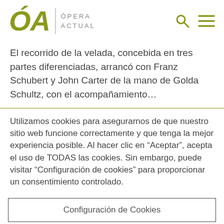ÓA | Ópera Actual
El recorrido de la velada, concebida en tres partes diferenciadas, arrancó con Franz Schubert y John Carter de la mano de Golda Schultz, con el acompañamiento...
Utilizamos cookies para asegurarnos de que nuestro sitio web funcione correctamente y que tenga la mejor experiencia posible. Al hacer clic en "Aceptar", acepta el uso de TODAS las cookies. Sin embargo, puede visitar "Configuración de cookies" para proporcionar un consentimiento controlado.
Configuración de Cookies
ACEPTAR